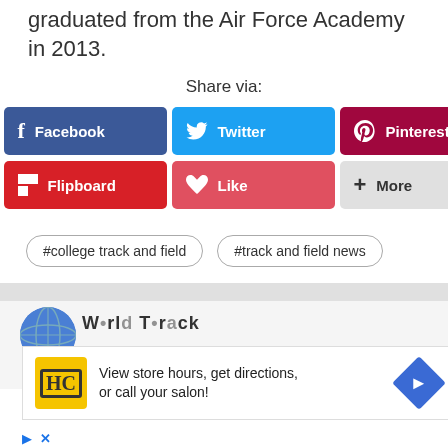graduated from the Air Force Academy in 2013.
Share via:
0 Shares
[Figure (screenshot): Social share buttons: Facebook, Twitter, Pinterest, Flipboard, Like, More]
#college track and field
#track and field news
[Figure (infographic): Advertisement banner: View store hours, get directions, or call your salon! with HC logo and navigation arrow icon]